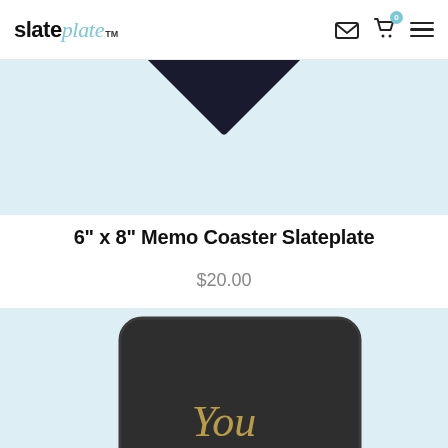slateplate™ — navigation header with email, cart (0), and menu icons
[Figure (photo): A dark slate board rotated diagonally at 45 degrees with handwritten white text on it, displayed on a light blue background. Only the bottom corner of the slate is visible.]
6" x 8" Memo Coaster Slateplate
$20.00
[Figure (photo): A dark charcoal/slate rectangular coaster with rounded corners displayed on a light blue background. It has cursive gold/silver lettering reading 'You' visible at the bottom. The coaster has a natural rough-edged texture.]